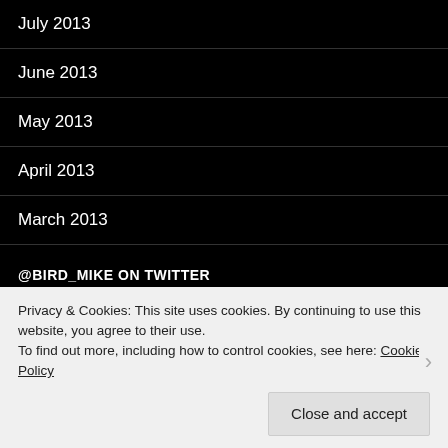July 2013
June 2013
May 2013
April 2013
March 2013
@BIRD_MIKE ON TWITTER
@MichaelRosenYes Making people poorer. It's someone else's fault. From your pockets to their profits. Make my ma...
Privacy & Cookies: This site uses cookies. By continuing to use this website, you agree to their use.
To find out more, including how to control cookies, see here: Cookie Policy
Close and accept